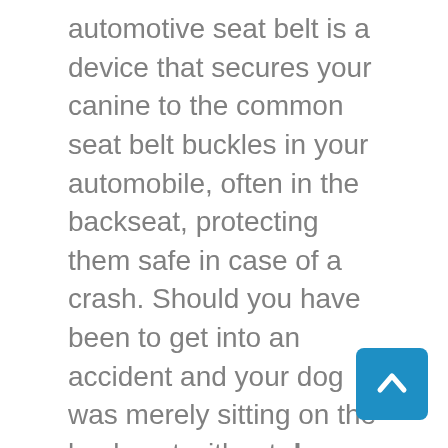automotive seat belt is a device that secures your canine to the common seat belt buckles in your automobile, often in the backseat, protecting them safe in case of a crash. Should you have been to get into an accident and your dog was merely sitting on the backseat without dog seat belt safety tested any kind of restraints, there is a good probability that they might fly through the windshield or hit the dashboard and get injured. A automobile crash may be very severe for canines, because they are quite a bit smaller than people. Even a minor crash is usually a main threat.
Taking your dog with you on a road trip can be a pleasurable experience. Sadly, a whole lot of canine die annually because of accidents, exhausting stress or from jumping out of vehicles. One technique to forestall that is to make use of the same security
[Figure (other): Blue scroll-to-top button with upward chevron arrow, positioned in the bottom-right corner of the page.]